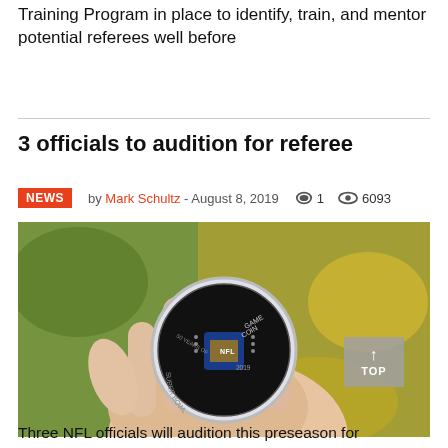Training Program in place to identify, train, and mentor potential referees well before
3 officials to audition for referee
NEWS by Mark Schultz - August 8, 2019  💬 1  👁 6093
[Figure (photo): A hand holding an NFL Game Coin in a plastic case, with green and yellow blurred background.]
Three NFL officials will audition this preseason for